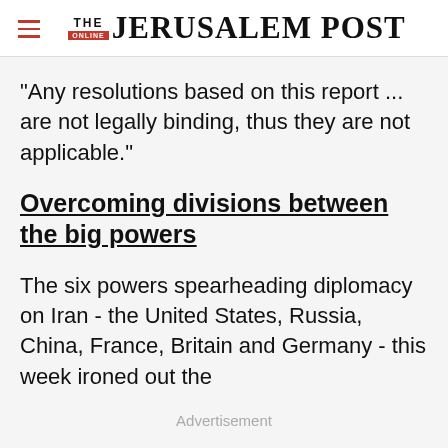THE JERUSALEM POST
"Any resolutions based on this report ... are not legally binding, thus they are not applicable."
Overcoming divisions between the big powers
The six powers spearheading diplomacy on Iran - the United States, Russia, China, France, Britain and Germany - this week ironed out the
Advertisement